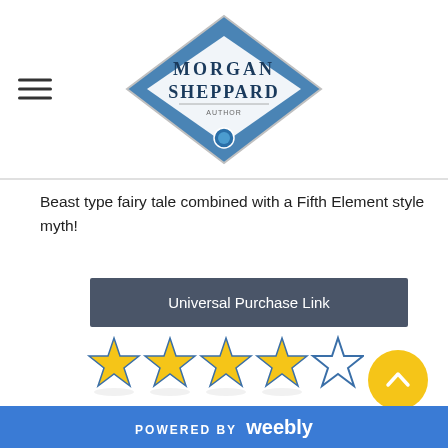[Figure (logo): Morgan Sheppard author logo: blue diamond/rhombus shape with 'MORGAN SHEPPARD' text on white background, decorative blue gemstone icon at bottom]
Beast type fairy tale combined with a Fifth Element style myth!
[Figure (other): Universal Purchase Link button - dark grey/slate colored rectangular button with white text]
[Figure (other): 4 out of 5 star rating: four filled gold stars and one empty/outline star with blue border]
[Figure (other): Yellow circular scroll-to-top button with upward chevron arrow]
Reminiscence is the first book in the Statera Saga. We start off with meeting Nora, a college student who has
POWERED BY weebly